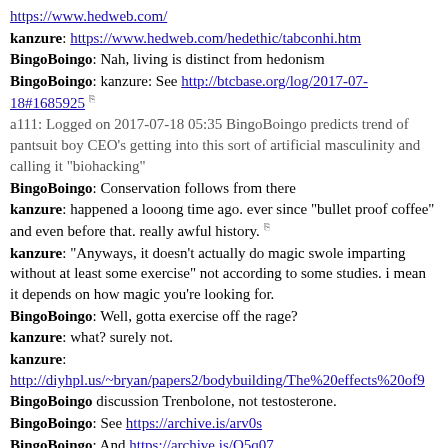https://www.hedweb.com/
kanzure: https://www.hedweb.com/hedethic/tabconhi.htm
BingoBoingo: Nah, living is distinct from hedonism
BingoBoingo: kanzure: See http://btcbase.org/log/2017-07-18#1685925
a111: Logged on 2017-07-18 05:35 BingoBoingo predicts trend of pantsuit boy CEO's getting into this sort of artificial masculinity and calling it "biohacking"
BingoBoingo: Conservation follows from there
kanzure: happened a looong time ago. ever since "bullet proof coffee" and even before that. really awful history.
kanzure: "Anyways, it doesn't actually do magic swole imparting without at least some exercise" not according to some studies. i mean it depends on how magic you're looking for.
BingoBoingo: Well, gotta exercise off the rage?
kanzure: what? surely not.
kanzure: http://diyhpl.us/~bryan/papers2/bodybuilding/The%20effects%20of9
BingoBoingo discussion Trenbolone, not testosterone.
BingoBoingo: See https://archive.is/arv0s
BingoBoingo: And https://archive.is/O5q07
asciilifeform: http://btcbase.org/log/2017-08-30#1706038 <<
above 2-3kW they recirculate the lasing gas per se. prolly unbeatable re cooling.
a111: Logged on 2017-08-30 02:15 mircea_popescu: